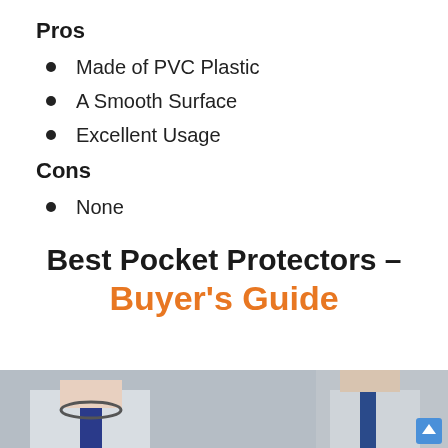Pros
Made of PVC Plastic
A Smooth Surface
Excellent Usage
Cons
None
Best Pocket Protectors – Buyer's Guide
[Figure (photo): Two doctors in white coats with stethoscopes, cropped at chest/neck level showing part of faces]